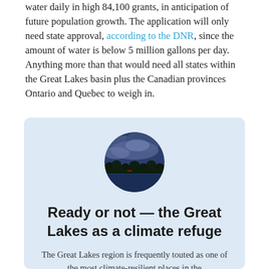water daily in high 84,100 grants, in anticipation of future population growth. The application will only need state approval, according to the DNR, since the amount of water is below 5 million gallons per day. Anything more than that would need all states within the Great Lakes basin plus the Canadian provinces Ontario and Quebec to weigh in.
[Figure (photo): Circular photo of a lake or great lakes scene with water and dark cloudy sky, trees visible along the shoreline.]
Ready or not — the Great Lakes as a climate refuge
The Great Lakes region is frequently touted as one of the most climate-resilient places in the